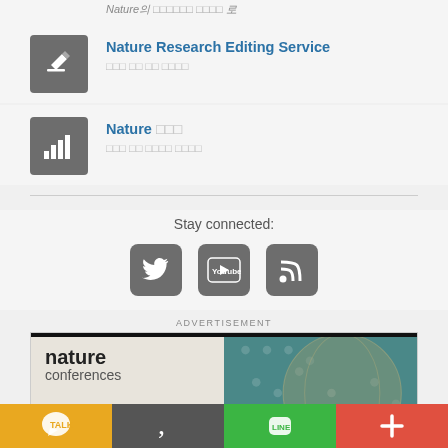Nature의 콘텐츠를 여러분 언어 로
Nature Research Editing Service - 전문가의 도움 으로 더 나은 영어로
Nature 한국어 - 흥미로운 콘텐츠 한글 번역을 확인하세요
Stay connected:
[Figure (infographic): Social media icons: Twitter, YouTube, RSS feed]
ADVERTISEMENT
[Figure (infographic): Nature conferences advertisement banner with circuit board image]
[Figure (infographic): Bottom app bar with KakaoTalk, Quotient, LINE, and plus buttons]